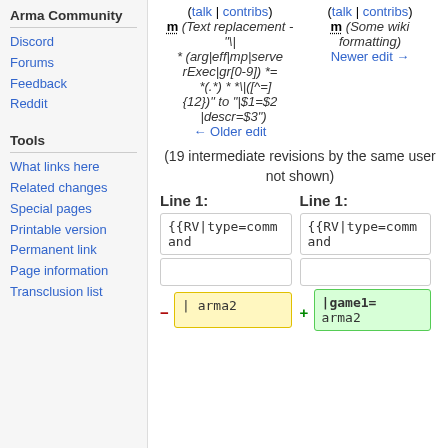Arma Community
Discord
Forums
Feedback
Reddit
Tools
What links here
Related changes
Special pages
Printable version
Permanent link
Page information
Transclusion list
(talk | contribs) m (Text replacement - "\| * (arg|eff|mp|serverExec|gr[0-9]) *= *(.*) * *\|([^=]{12})" to "|$1=$2 |descr=$3") ← Older edit
(talk | contribs) m (Some wiki formatting) Newer edit →
(19 intermediate revisions by the same user not shown)
Line 1:
Line 1:
{{RV|type=command and
{{RV|type=command and
| arma2
|game1= arma2